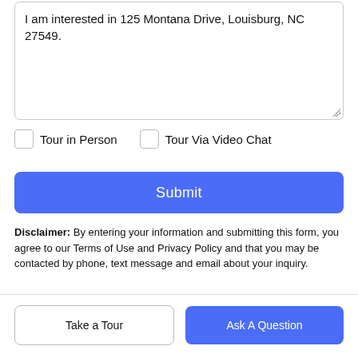I am interested in 125 Montana Drive, Louisburg, NC 27549.
Tour in Person
Tour Via Video Chat
Submit
Disclaimer: By entering your information and submitting this form, you agree to our Terms of Use and Privacy Policy and that you may be contacted by phone, text message and email about your inquiry.
Take a Tour | Ask A Question